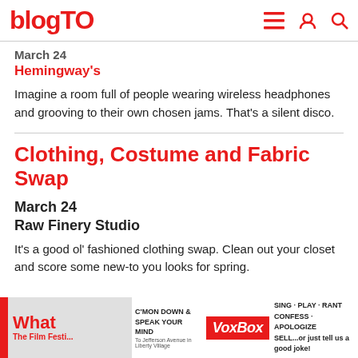blogTO
March 24
Hemingway's
Imagine a room full of people wearing wireless headphones and grooving to their own chosen jams. That's a silent disco.
Clothing, Costume and Fabric Swap
March 24
Raw Finery Studio
It's a good ol' fashioned clothing swap. Clean out your closet and score some new-to you looks for spring.
[Figure (screenshot): Advertisement banner: VoxBox ad with text 'C'MON DOWN & SPEAK YOUR MIND', 'VoxBox', 'SING·PLAY·RANT CONFESS·APOLOGIZE SELL...or just tell us a good joke!']
What The Film Festi...